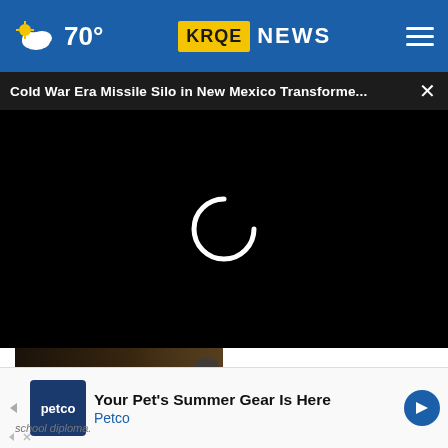70° KRQE NEWS
Cold War Era Missile Silo in New Mexico Transforme... ×
[Figure (screenshot): Video player loading screen with spinning 'C' loader on black background]
[Figure (screenshot): Thumbnail showing 'ALONE' text overlay with a person in background, and a close button]
Your Pet's Summer Gear Is Here Petco
school diploma.